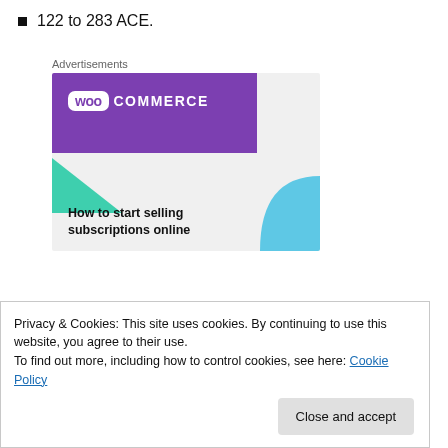122 to 283 ACE.
[Figure (illustration): WooCommerce advertisement banner showing the WooCommerce logo on a purple background with teal and blue geometric shapes and the text 'How to start selling subscriptions online']
Privacy & Cookies: This site uses cookies. By continuing to use this website, you agree to their use.
To find out more, including how to control cookies, see here: Cookie Policy
Close and accept